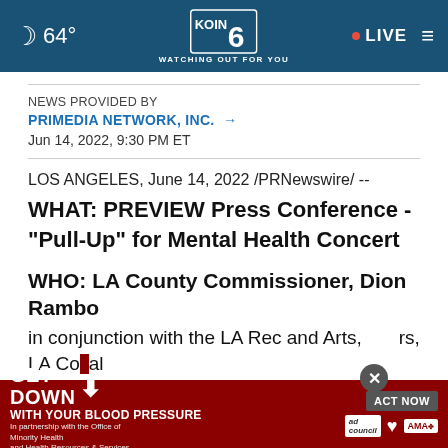64° KOIN 6 WATCHING OUT FOR YOU • LIVE
NEWS PROVIDED BY
PRIMEDIA NETWORK, INC. →
Jun 14, 2022, 9:30 PM ET
LOS ANGELES, June 14, 2022 /PRNewswire/ --
WHAT: PREVIEW Press Conference - "Pull-Up" for Mental Health Concert
WHO: LA County Commissioner, Dion Rambo in conjunction with the LA Rec and Arts, LA Co...al
[Figure (screenshot): GET DOWN WITH YOUR BLOOD PRESSURE advertisement banner with ACT NOW button, ad council and AMA logos]